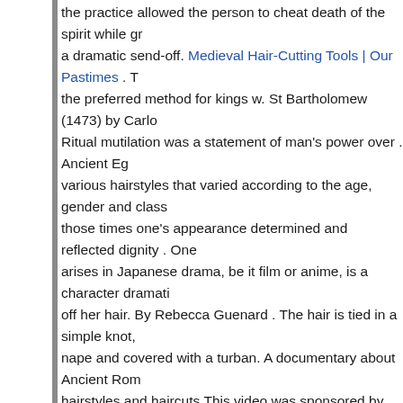the practice allowed the person to cheat death of the spirit while giving a dramatic send-off. Medieval Hair-Cutting Tools | Our Pastimes . the preferred method for kings w. St Bartholomew (1473) by Carlo  Ritual mutilation was a statement of man's power over . Ancient Egypt various hairstyles that varied according to the age, gender and class those times one's appearance determined and reflected dignity . One arises in Japanese drama, be it film or anime, is a character dramatically off her hair. By Rebecca Guenard . The hair is tied in a simple knot, nape and covered with a turban. A documentary about Ancient Roman hairstyles and haircuts.This video was sponsored by Harry's. Click https://www.harrys.com/invicta to get free shipping. Quote from 🌐. ancient Egyptian, Roman, and Indian cultures were subjected to hair practices similar to today's. Dating back to 3,000 BCE (! Hair . Hair important in Ancient China. Tetradrachm with Apollo from Leontini BCE. Men typically tied their hair in a knot at the top of their head piece of cloth or a hat. Tonsuring is the religious practice of shaving the head. Scissors were invented and were even around during the Babylonian kingdom, but they were for cutting hair and trimming The hair texture pictured here is the only hair texture that will lock, only by not combing or cutting. So a very nice sharp flint knife or obsidian, which is razor sharp. While keratin is hardy and durable,